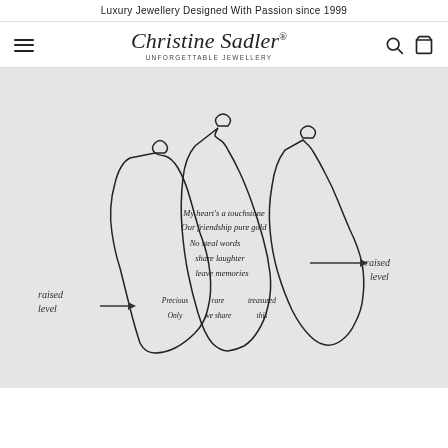Luxury Jewellery Designed With Passion since 1999
Christine Sadler® UNFORGETTABLE JEWELLERY
[Figure (illustration): Hand-drawn sketch of three jewellery pendant/stone shapes arranged in a fan/floral layout, each with a bail loop at the top. Text inside reads: 'My heart's a touchstone / Our friendship pure gold / No steal words / share laughter / leave memories / Precious Only / rare we share / treasured this'. Handwritten annotations outside the shapes on the left say 'raised level' with an arrow pointing right, and on the right say 'raised level'.]